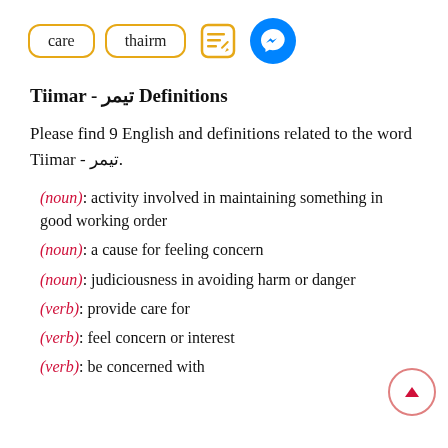[Figure (other): Navigation bar with two word tags 'care' and 'thairm' in orange-bordered rounded rectangles, an edit icon, and a Facebook Messenger icon]
Tiimar - تيمر Definitions
Please find 9 English and definitions related to the word Tiimar - تيمر.
(noun): activity involved in maintaining something in good working order
(noun): a cause for feeling concern
(noun): judiciousness in avoiding harm or danger
(verb): provide care for
(verb): feel concern or interest
(verb): be concerned with